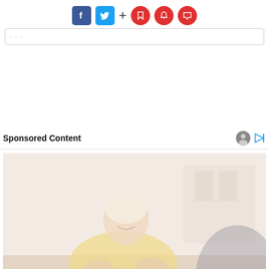[Figure (screenshot): Social media sharing buttons: Facebook (blue), Twitter (blue), plus sign, and three red circular icons (bookmark, bell, comment)]
[Figure (screenshot): Text input bar / search bar partially visible]
Sponsored Content
[Figure (photo): An older woman with blonde/white hair wearing a yellow sweater, sitting at a table, smiling and gesturing with her hands. Another person is partially visible in the foreground. Background is blurred indoor setting. Image is washed out / high exposure.]